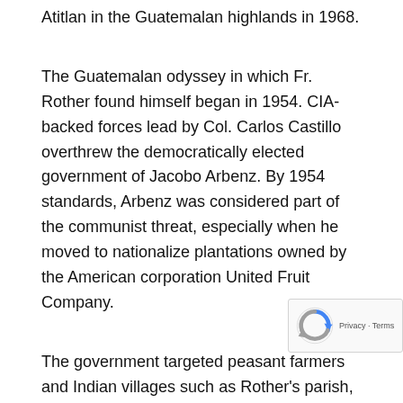Atitlan in the Guatemalan highlands in 1968.
The Guatemalan odyssey in which Fr. Rother found himself began in 1954. CIA-backed forces lead by Col. Carlos Castillo overthrew the democratically elected government of Jacobo Arbenz. By 1954 standards, Arbenz was considered part of the communist threat, especially when he moved to nationalize plantations owned by the American corporation United Fruit Company.
The government targeted peasant farmers and Indian villages such as Rother's parish, took away reforms and began a reign of terror that exploded into civil war in 1960. Civilian rule was restored by 1966 by government counterinsurgency activity.
In 1970 the country was placed under a state of siege President Cesar Mendez. The Guatemalan army was being